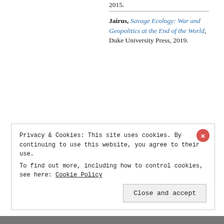2015.
Jairus, Savage Ecology: War and Geopolitics at the End of the World, Duke University Press, 2019.
Can, 'The Social Life of Data: The Production of Political Facts in EU Policy Governance'.
Privacy & Cookies: This site uses cookies. By continuing to use this website, you agree to their use. To find out more, including how to control cookies, see here: Cookie Policy